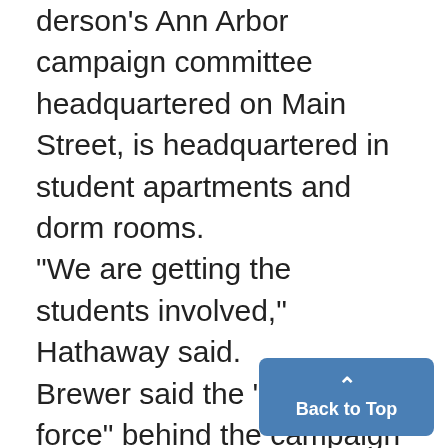derson's Ann Arbor campaign committee headquartered on Main Street, is headquartered in student apartments and dorm rooms. "We are getting the students involved," Hathaway said. Brewer said the "driving force" behind the campaign is the volunteer pool of more than 100 students. "Getting in touch with all of them can be very frustrating," Brewer acknowledged, "but we have some very dedicated volunteers." VOLUNTEER Coordinator Brian Sho... said "We have about 150...